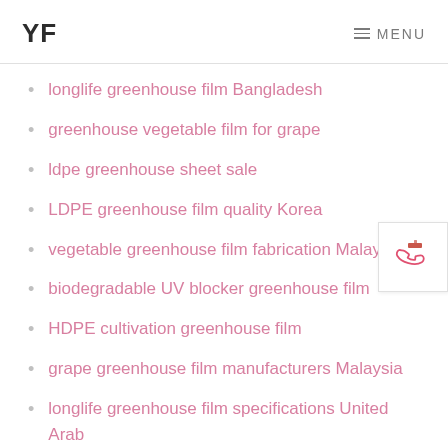YF  ≡ MENU
longlife greenhouse film Bangladesh
greenhouse vegetable film for grape
ldpe greenhouse sheet sale
LDPE greenhouse film quality Korea
vegetable greenhouse film fabrication Malaysia
biodegradable UV blocker greenhouse film
HDPE cultivation greenhouse film
grape greenhouse film manufacturers Malaysia
longlife greenhouse film specifications United Arab Emirates
greenhouse plastic film agricultural wholesalers
[Figure (illustration): Phone/call icon in a white box with border, positioned at right side]